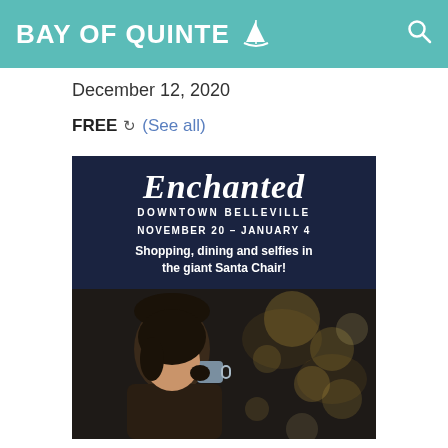BAY OF QUINTE
December 12, 2020
FREE (See all)
[Figure (illustration): Event promotional image for 'Enchanted Downtown Belleville' running November 20 - January 4, featuring script title 'Enchanted', subtitle 'Downtown Belleville', date range, text 'Shopping, dining and selfies in the giant Santa Chair!', and a photo of a woman drinking from a mug with bokeh Christmas lights in background.]